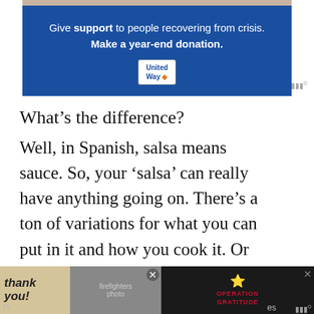[Figure (screenshot): United Way advertisement banner with blue background. Text reads: 'Give support to people recovering from crisis. Make a year-end donation.' with United Way logo badge below. Small Moat watermark icon in bottom right.]
What’s the difference?
Well, in Spanish, salsa means sauce. So, your ‘salsa’ can really have anything going on. There’s a ton of variations for what you can put in it and how you cook it. Or don’t cook it. As the saying goes, variety is the spice of life.
[Figure (screenshot): Bottom advertisement banner with black background. Left side shows a 'Thank you!' image with American flag and firefighters photo. Right side shows Operation Gratitude logo with star and text 'OPERATION GRATITUDE'. Close buttons visible. Partial page footer text visible.]